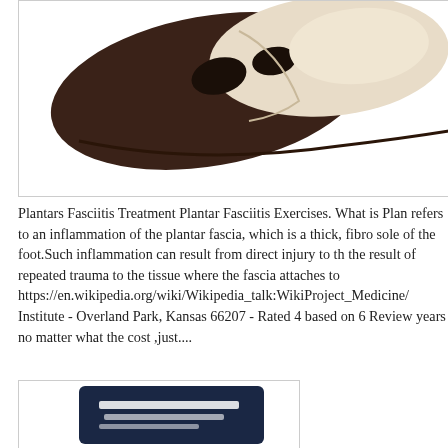[Figure (photo): A medical foot/ankle brace or orthotic device shown against a white background, with dark brown and beige/cream fabric sections and black strap openings.]
Plantars Fasciitis Treatment Plantar Fasciitis Exercises. What is Plan refers to an inflammation of the plantar fascia, which is a thick, fibro sole of the foot.Such inflammation can result from direct injury to th the result of repeated trauma to the tissue where the fascia attaches to https://en.wikipedia.org/wiki/Wikipedia_talk:WikiProject_Medicine/ Institute - Overland Park, Kansas 66207 - Rated 4 based on 6 Review years no matter what the cost ,just....
[Figure (photo): Partial view of a product box or packaging with dark navy/blue background and white text, partially visible at the bottom of the page.]